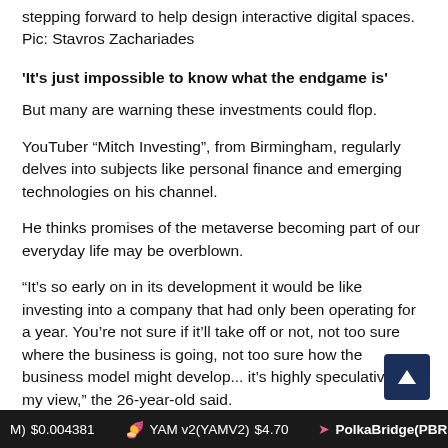stepping forward to help design interactive digital spaces. Pic: Stavros Zachariades
‘It’s just impossible to know what the endgame is’
But many are warning these investments could flop.
YouTuber “Mitch Investing”, from Birmingham, regularly delves into subjects like personal finance and emerging technologies on his channel.
He thinks promises of the metaverse becoming part of our everyday life may be overblown.
“It’s so early on in its development it would be like investing into a company that had only been operating for a year. You’re not sure if it’ll take off or not, not too sure where the business is going, not too sure how the business model might develop... it’s highly speculative in my view,” the 26-year-old said.
(M) $0.004381   YAM v2(YAMV2) $4.70   PolkaBridge(PBR